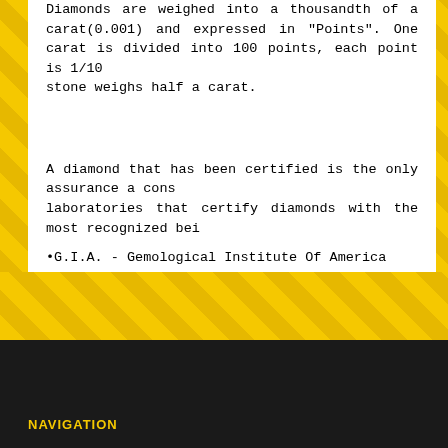Diamonds are weighed into a thousandth of a carat(0.001) and expressed in "Points". One carat is divided into 100 points, each point is 1/100 of a carat. A 50 point stone weighs half a carat.
A diamond that has been certified is the only assurance a consumer has. There are laboratories that certify diamonds with the most recognized being:
•G.I.A. - Gemological Institute Of America
•A.G.S. - American Gem Society
•E.G.L. - European Gemological Laboratory
•I.G.I. - International Gemological Institute
It is important to note that diamond gradings between the different labs can vary. Since color and clarity is based upon subjective judgment, different gr
NAVIGATION